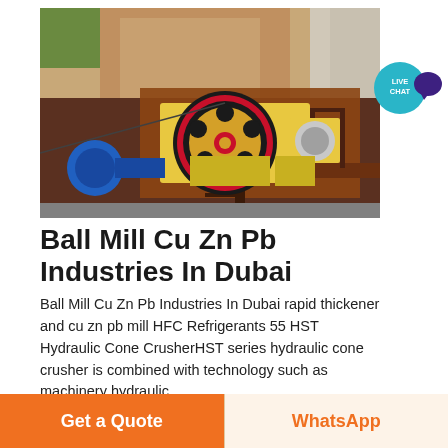[Figure (photo): Industrial jaw crusher machine mounted on a structure at a mining or quarrying site outdoors. The machine is yellow and dark red/brown with a large circular flywheel featuring holes. There is a blue motor visible on the left side. Rocky hillside and concrete structure visible in the background.]
[Figure (infographic): Live Chat badge: teal circle with LIVE CHAT text and dark purple speech bubble icon to the right.]
Ball Mill Cu Zn Pb Industries In Dubai
Ball Mill Cu Zn Pb Industries In Dubai rapid thickener and cu zn pb mill HFC Refrigerants 55 HST Hydraulic Cone CrusherHST series hydraulic cone crusher is combined with technology such as machinery hydraulic
برای جزئیات کلیک کنید